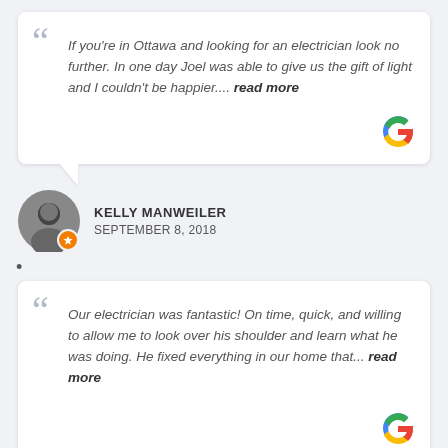If you're in Ottawa and looking for an electrician look no further. In one day Joel was able to give us the gift of light and I couldn't be happier.... read more
KELLY MANWEILER
SEPTEMBER 8, 2018
Our electrician was fantastic! On time, quick, and willing to allow me to look over his shoulder and learn what he was doing. He fixed everything in our home that... read more
JAMES MCALLISTER
DECEMBER 15, 2018